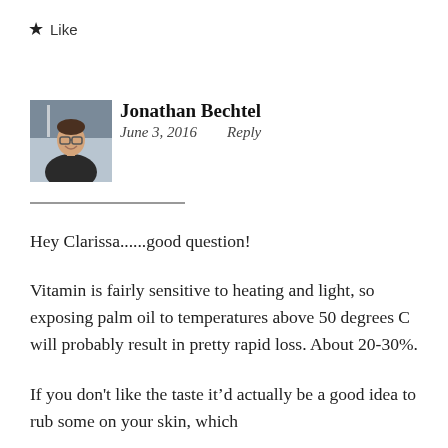★ Like
[Figure (photo): Profile photo of Jonathan Bechtel, a man with glasses smiling, outdoor background]
Jonathan Bechtel
June 3, 2016    Reply
Hey Clarissa......good question!
Vitamin is fairly sensitive to heating and light, so exposing palm oil to temperatures above 50 degrees C will probably result in pretty rapid loss. About 20-30%.
If you don't like the taste it'd actually be a good idea to rub some on your skin, which